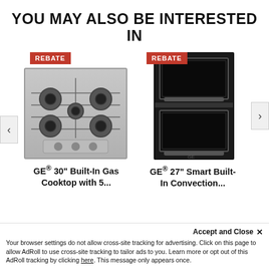YOU MAY ALSO BE INTERESTED IN
[Figure (photo): GE 30-inch built-in gas cooktop product photo with stainless steel finish and 5 burners, showing REBATE badge]
GE® 30" Built-In Gas Cooktop with 5...
[Figure (photo): GE 27-inch black smart built-in convection double wall oven product photo, showing REBATE badge]
GE® 27" Smart Built-In Convection...
GE Appliances JGP3030SLSS
GE Appliances ...
Accept and Close ✕
Your browser settings do not allow cross-site tracking for advertising. Click on this page to allow AdRoll to use cross-site tracking to tailor ads to you. Learn more or opt out of this AdRoll tracking by clicking here. This message only appears once.